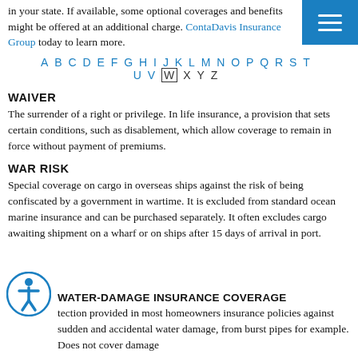in your state. If available, some optional coverages and benefits might be offered at an additional charge. Contact Davis Insurance Group today to learn more.
A B C D E F G H I J K L M N O P Q R S T U V W X Y Z
WAIVER
The surrender of a right or privilege. In life insurance, a provision that sets certain conditions, such as disablement, which allow coverage to remain in force without payment of premiums.
WAR RISK
Special coverage on cargo in overseas ships against the risk of being confiscated by a government in wartime. It is excluded from standard ocean marine insurance and can be purchased separately. It often excludes cargo awaiting shipment on a wharf or on ships after 15 days of arrival in port.
WATER-DAMAGE INSURANCE COVERAGE
Protection provided in most homeowners insurance policies against sudden and accidental water damage, from burst pipes for example. Does not cover damage